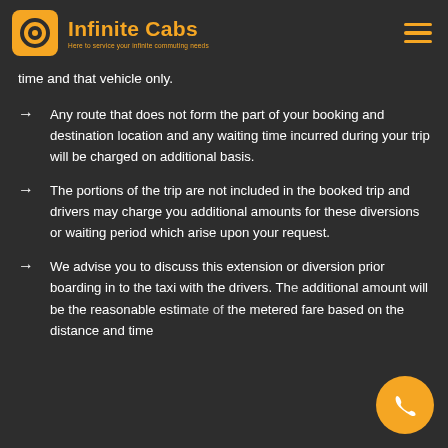Infinite Cabs — Here to service your infinite commuting needs
time and that vehicle only.
Any route that does not form the part of your booking and destination location and any waiting time incurred during your trip will be charged on additional basis.
The portions of the trip are not included in the booked trip and drivers may charge you additional amounts for these diversions or waiting period which arise upon your request.
We advise you to discuss this extension or diversion prior boarding in to the taxi with the drivers. The additional amount will be the reasonable estimate of the metered fare based on the distance and time